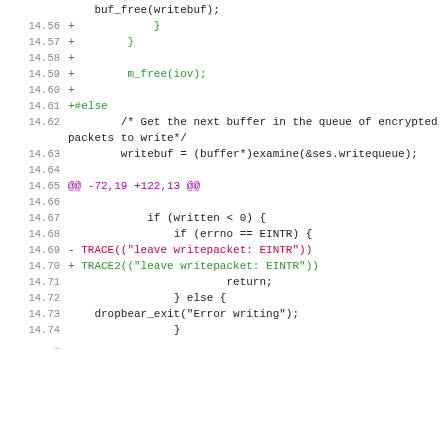Code diff showing lines 14.56 through 14.74 of a source file, with additions in green, deletions in red, diff headers in magenta, and context lines in dark.